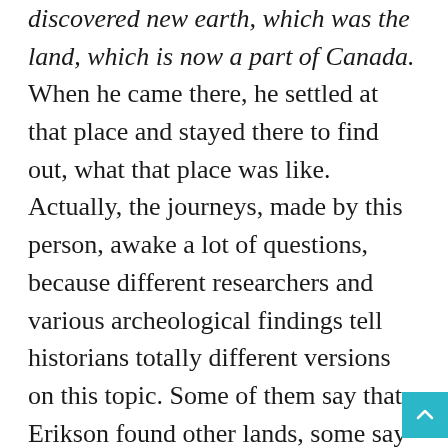discovered new earth, which was the land, which is now a part of Canada. When he came there, he settled at that place and stayed there to find out, what that place was like. Actually, the journeys, made by this person, awake a lot of questions, because different researchers and various archeological findings tell historians totally different versions on this topic. Some of them say that Erikson found other lands, some say that territory was different and there are a lot of other controversial opinions on that topic. Nevertheless, many people know, what day Leif Erikson Day in 2019 is.